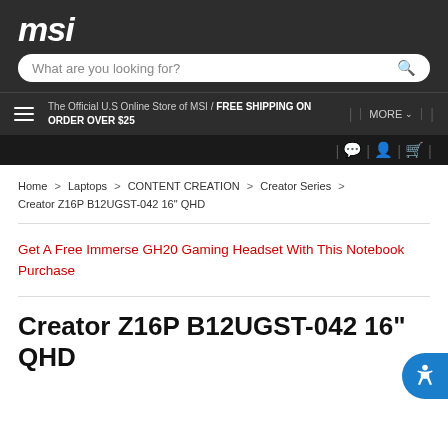[Figure (logo): MSI logo in white italic bold text on dark background]
[Figure (screenshot): Search bar with placeholder text 'What are you looking for?' and magnifying glass icon]
The Official U.S Online Store of MSI / FREE SHIPPING ON ORDER OVER $25
MORE
Home > Laptops > CONTENT CREATION > Creator Series > Creator Z16P B12UGST-042 16" QHD
Get A Free Immerse GH20 Gaming Headset With This Notebook Purchase
Creator Z16P B12UGST-042 16" QHD